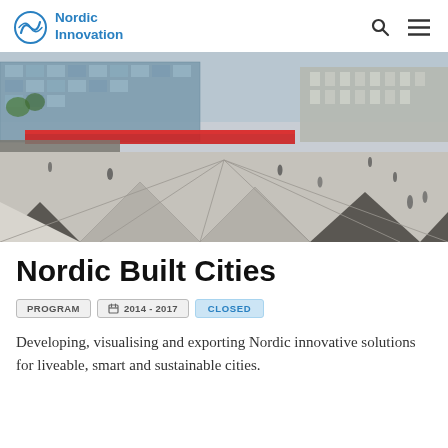Nordic Innovation
[Figure (photo): Aerial/wide-angle view of a Nordic city public square with a distinctive black and white geometric patterned plaza, modern glass buildings, red awnings, and pedestrians walking around]
Nordic Built Cities
PROGRAM   2014 - 2017   CLOSED
Developing, visualising and exporting Nordic innovative solutions for liveable, smart and sustainable cities.